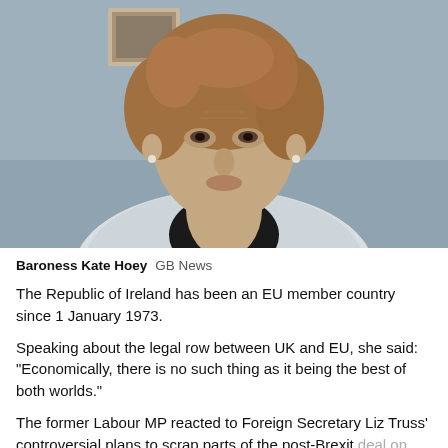[Figure (photo): Video screenshot of Baroness Kate Hoey, an older woman with curly reddish-brown hair, wearing a white jacket and dark top, seated indoors with a framed picture on the wall behind her.]
Baroness Kate Hoey  GB News
The Republic of Ireland has been an EU member country since 1 January 1973.
Speaking about the legal row between UK and EU, she said: "Economically, there is no such thing as it being the best of both worlds."
The former Labour MP reacted to Foreign Secretary Liz Truss' controversial plans to scrap parts of the post-Brexit deal on Northern Ireland.